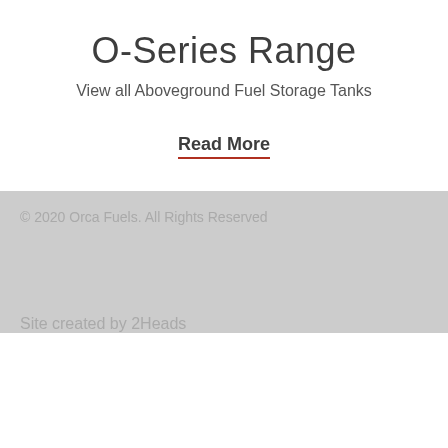O-Series Range
View all Aboveground Fuel Storage Tanks
Read More
© 2020 Orca Fuels. All Rights Reserved
Site created by 2Heads